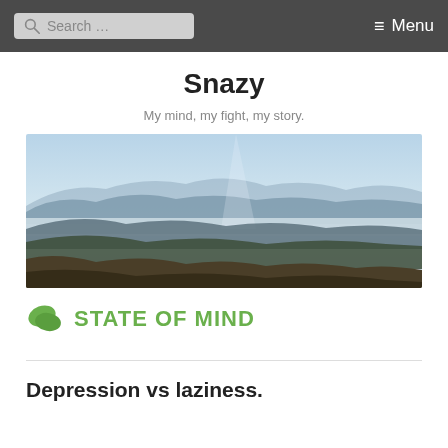Search ... Menu
Snazy
My mind, my fight, my story.
[Figure (photo): Panoramic landscape photo of misty mountain ranges with hazy blue ridgelines and soft light breaking through clouds in the background, with rugged brown terrain in the foreground.]
STATE OF MIND
Depression vs laziness.